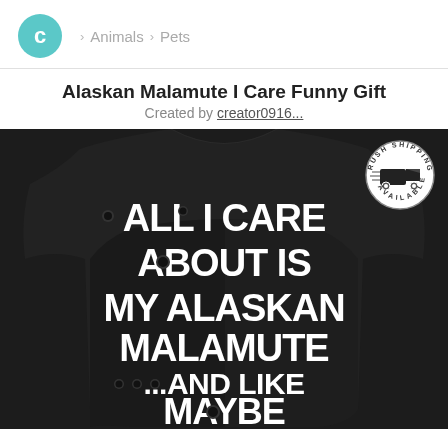C > Animals > Pets
Alaskan Malamute I Care Funny Gift
Created by creator0916...
[Figure (photo): Black t-shirt with white bold text reading: ALL I CARE ABOUT IS MY ALASKAN MALAMUTE ...AND LIKE MAYBE 3 PEOPLE, with paw print graphics. Rush Shipping Available badge in top right corner.]